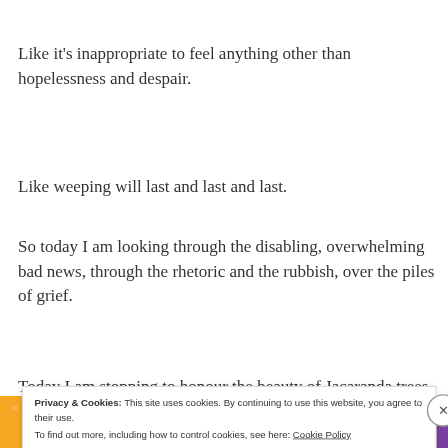Like it’s inappropriate to feel anything other than hopelessness and despair.
Like weeping will last and last and last.
So today I am looking through the disabling, overwhelming bad news, through the rhetoric and the rubbish, over the piles of grief.
Today I am stopping to honour the beauty of Jacaranda trees i…
Privacy & Cookies: This site uses cookies. By continuing to use this website, you agree to their use.
To find out more, including how to control cookies, see here: Cookie Policy
[Figure (photo): Colorful patterned image strip at the bottom of the page with orange, yellow, and purple patterns]